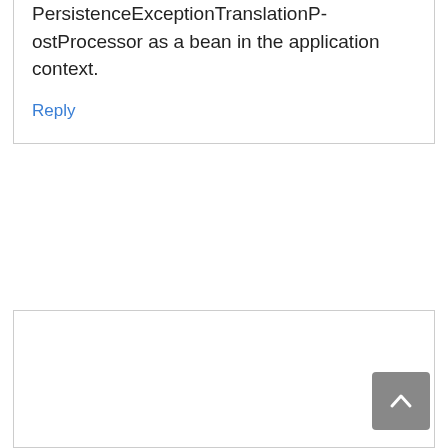PersistenceExceptionTranslationPostProcessor as a bean in the application context.
Reply
Leave a Comment
[Figure (other): Empty comment text area input box]
[Figure (other): Scroll to top button with upward chevron arrow]